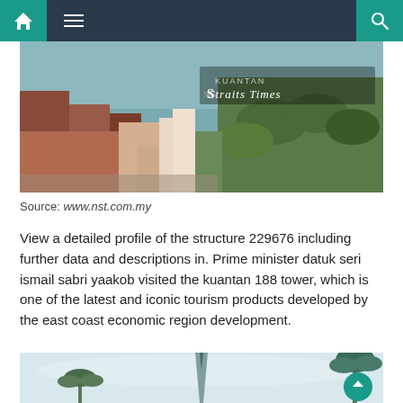Navigation bar with home, menu, and search icons
[Figure (photo): Aerial view of Kuantan city with river and palm trees, with 'KUANTAN New Straits Times' watermark overlay]
Source: www.nst.com.my
View a detailed profile of the structure 229676 including further data and descriptions in. Prime minister datuk seri ismail sabri yaakob visited the kuantan 188 tower, which is one of the latest and iconic tourism products developed by the east coast economic region development.
[Figure (photo): Bottom portion of a photo showing a tower or monument with palm trees against a light sky]